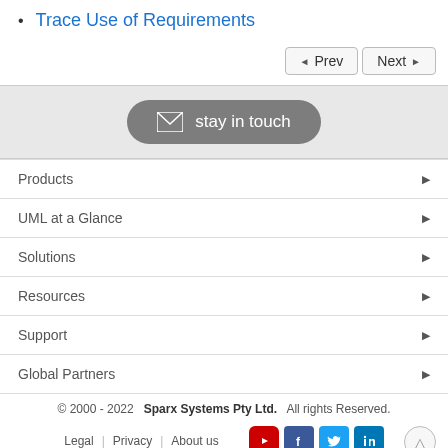Trace Use of Requirements
[Figure (other): Prev and Next navigation buttons]
[Figure (other): Stay in touch button with envelope icon]
Products
UML at a Glance
Solutions
Resources
Support
Global Partners
© 2000 - 2022  Sparx Systems Pty Ltd.  All rights reserved.
Legal  Privacy  About us